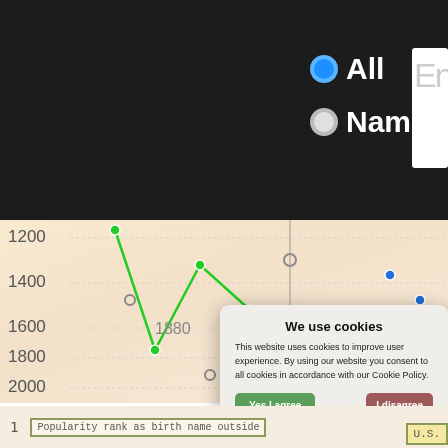[Figure (screenshot): Screenshot of a baby name popularity website showing a line chart with y-axis values (1200, 1400, 1600, 1800, 2000) and x-axis years (1880, 1991, 2003). There are multiple colored lines (green, gray, blue) plotted on the chart. The top area has a dark background with 'All' and 'Name' radio buttons and a search box. A cookie consent dialog overlays the chart. The bottom shows 'Popularity rank as birth name outside U.S.' label.]
All
Name
We use cookies
This website uses cookies to improve user experience. By using our website you consent to all cookies in accordance with our Cookie Policy.
Yes I agree
I disagree
Read more
Free cookie consent by cookie-script.com
Popularity rank as birth name outside U.S.